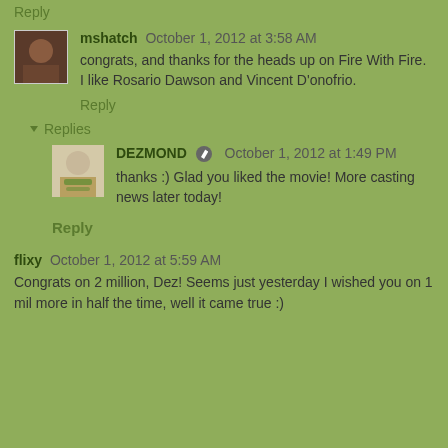Reply
mshatch  October 1, 2012 at 3:58 AM
congrats, and thanks for the heads up on Fire With Fire. I like Rosario Dawson and Vincent D'onofrio.
Reply
Replies
DEZMOND  October 1, 2012 at 1:49 PM
thanks :) Glad you liked the movie! More casting news later today!
Reply
flixy  October 1, 2012 at 5:59 AM
Congrats on 2 million, Dez! Seems just yesterday I wished you on 1 mil more in half the time, well it came true :)